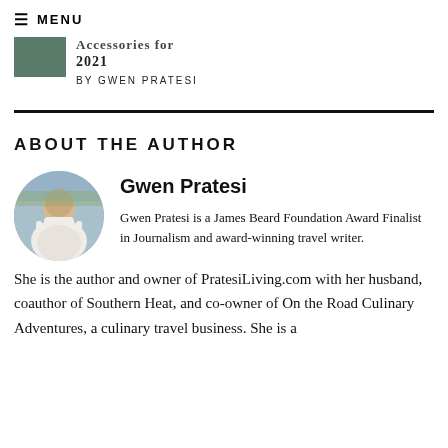≡ MENU
Accessories for 2021
BY GWEN PRATESI
ABOUT THE AUTHOR
[Figure (photo): Circular portrait photo of Gwen Pratesi, a woman in a white dress standing outdoors with a scenic hillside town in the background.]
Gwen Pratesi
Gwen Pratesi is a James Beard Foundation Award Finalist in Journalism and award-winning travel writer. She is the author and owner of PratesiLiving.com with her husband, coauthor of Southern Heat, and co-owner of On the Road Culinary Adventures, a culinary travel business. She is a